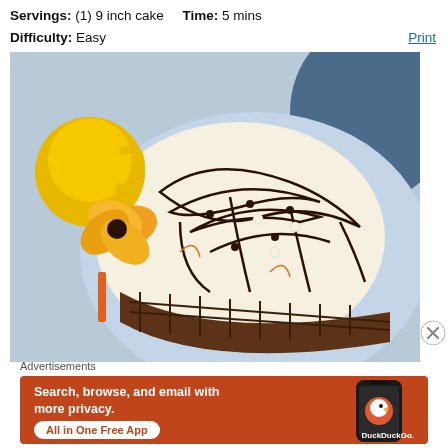Servings: (1) 9 inch cake    Time: 5 mins
Difficulty: Easy
Print
[Figure (photo): Overhead view of a decorated 9-inch cake on a blue plate with chocolate drizzle, white frosting, next to a yellow flower and mug, and blue cloth in background.]
Advertisements
[Figure (other): DuckDuckGo advertisement banner: orange background, text 'Search, browse, and email with more privacy. All in One Free App', with a phone graphic and DuckDuckGo logo.]